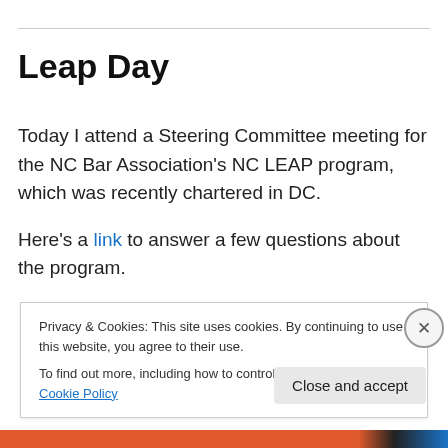Leap Day
Today I attend a Steering Committee meeting for the NC Bar Association's NC LEAP program, which was recently chartered in DC.
Here's a link to answer a few questions about the program.
Privacy & Cookies: This site uses cookies. By continuing to use this website, you agree to their use. To find out more, including how to control cookies, see here: Cookie Policy
Close and accept